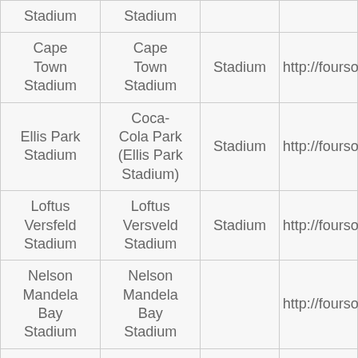| Stadium | Stadium |  |  |
| Cape Town Stadium | Cape Town Stadium | Stadium | http://fourso |
| Ellis Park Stadium | Coca-Cola Park (Ellis Park Stadium) | Stadium | http://fourso |
| Loftus Versfeld Stadium | Loftus Versveld Stadium | Stadium | http://fourso |
| Nelson Mandela Bay Stadium | Nelson Mandela Bay Stadium |  | http://fourso |
| Free State Stadium | Vodacom Park |  | http://foursq |
| Peter Mokaba | Peter Mokaba | Soccer | http://foursq |